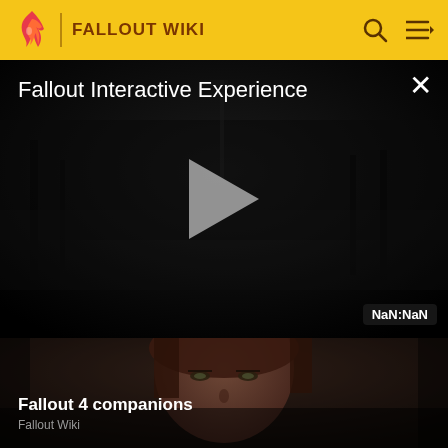FALLOUT WIKI
[Figure (screenshot): Video player showing Fallout Interactive Experience with dark atmospheric scene, play button in center, close button top right, NaN:NaN timer badge bottom right]
Fallout Interactive Experience
[Figure (photo): Close-up of a woman's face from Fallout 4 game, dark moody lighting]
Fallout 4 companions
Fallout Wiki